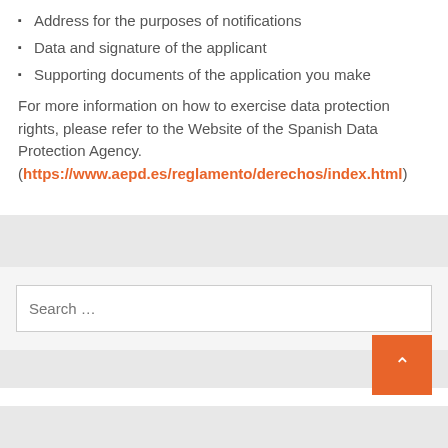Address for the purposes of notifications
Data and signature of the applicant
Supporting documents of the application you make
For more information on how to exercise data protection rights, please refer to the Website of the Spanish Data Protection Agency. (https://www.aepd.es/reglamento/derechos/index.html)